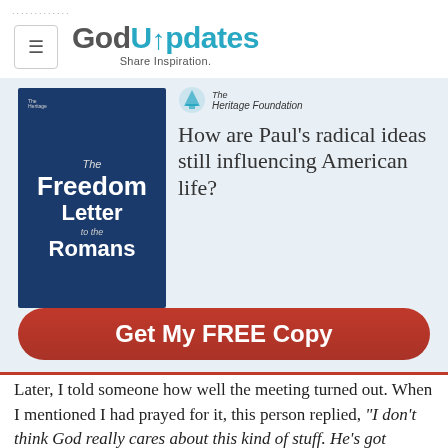GodUpdates — Share Inspiration.
[Figure (infographic): Heritage Foundation advertisement for 'The Freedom Letter to the Romans' book. Shows a blue book cover on the left and text on the right reading 'How are Paul's radical ideas still influencing American life?' with a red button 'Get My FREE Copy'.]
Later, I told someone how well the meeting turned out. When I mentioned I had prayed for it, this person replied, "I don't think God really cares about this kind of stuff. He's got bigger stuff to deal with."